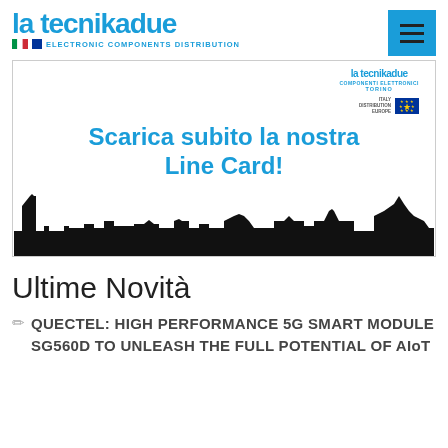la tecnikadue – ELECTRONIC COMPONENTS DISTRIBUTION
[Figure (illustration): Promotional banner for La Tecnikadue showing logo, Italy/Europe flags, text 'Scarica subito la nostra Line Card!' and Turin skyline silhouette]
Ultime Novità
QUECTEL: HIGH PERFORMANCE 5G SMART MODULE SG560D TO UNLEASH THE FULL POTENTIAL OF AIoT